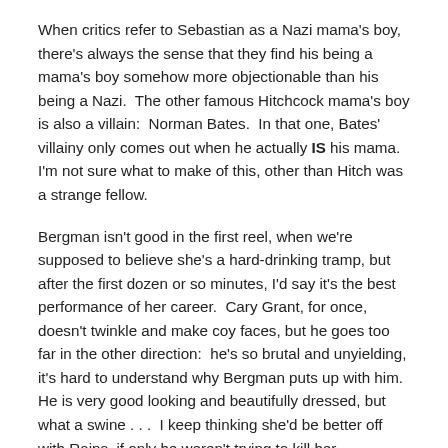When critics refer to Sebastian as a Nazi mama's boy, there's always the sense that they find his being a mama's boy somehow more objectionable than his being a Nazi.  The other famous Hitchcock mama's boy is also a villain:  Norman Bates.  In that one, Bates' villainy only comes out when he actually IS his mama.  I'm not sure what to make of this, other than Hitch was a strange fellow.
Bergman isn't good in the first reel, when we're supposed to believe she's a hard-drinking tramp, but after the first dozen or so minutes, I'd say it's the best performance of her career.  Cary Grant, for once, doesn't twinkle and make coy faces, but he goes too far in the other direction:  he's so brutal and unyielding, it's hard to understand why Bergman puts up with him.  He is very good looking and beautifully dressed, but what a swine . . .  I keep thinking she'd be better off with Rains, if only he weren't trying to kill her.